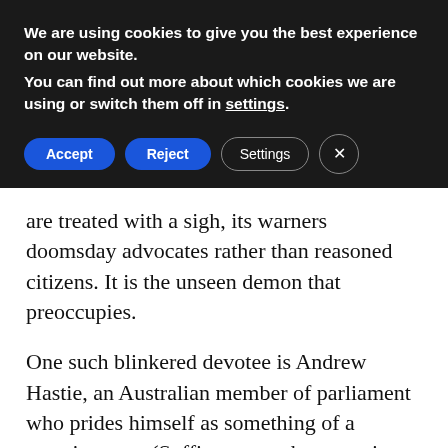We are using cookies to give you the best experience on our website.
You can find out more about which cookies we are using or switch them off in settings.
Accept   Reject   Settings   ×
are treated with a sigh, its warners doomsday advocates rather than reasoned citizens. It is the unseen demon that preoccupies.
One such blinkered devotee is Andrew Hastie, an Australian member of parliament who prides himself as something of a security sage. (Suffice to say that experience serving as a member of the Special Air